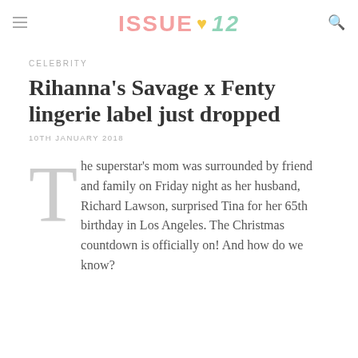ISSUE ♥ 12
CELEBRITY
Rihanna's Savage x Fenty lingerie label just dropped
10TH JANUARY 2018
The superstar's mom was surrounded by friend and family on Friday night as her husband, Richard Lawson, surprised Tina for her 65th birthday in Los Angeles. The Christmas countdown is officially on! And how do we know?